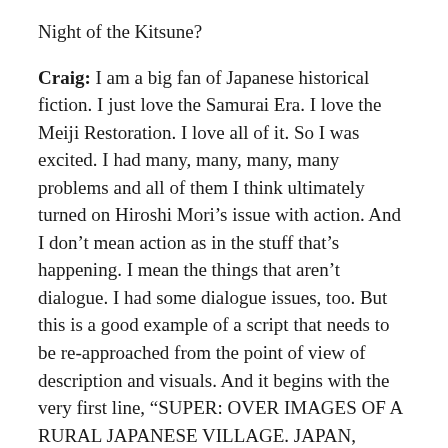Night of the Kitsune?
Craig: I am a big fan of Japanese historical fiction. I just love the Samurai Era. I love the Meiji Restoration. I love all of it. So I was excited. I had many, many, many, many problems and all of them I think ultimately turned on Hiroshi Mori’s issue with action. And I don’t mean action as in the stuff that’s happening. I mean the things that aren’t dialogue. I had some dialogue issues, too. But this is a good example of a script that needs to be re-approached from the point of view of description and visuals. And it begins with the very first line, “SUPER: OVER IMAGES OF A RURAL JAPANESE VILLAGE. JAPAN, TAISHO ERA, 1920’S.”
First, full if we’re being nice ...